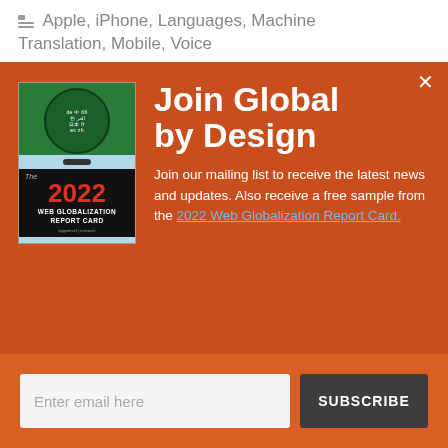Apple, iPhone, Languages, Machine Translation, Mobile, Voice
[Figure (illustration): Book cover for The 2022 Web Globalization Report Card, featuring a globe made of world language text on a dark green background, with the year 2022 in red, published by Byte Level Research]
Join Global by Design
Join our mailing list to receive the latest news and updates. Also receive a free sample from the 2022 Web Globalization Report Card.
Enter email here
SUBSCRIBE